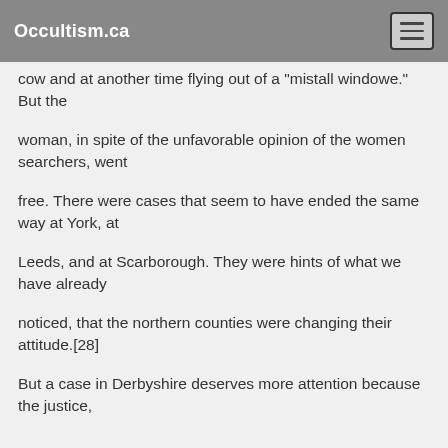Occultism.ca
cow and at another time flying out of a "mistall windowe." But the
woman, in spite of the unfavorable opinion of the women searchers, went
free. There were cases that seem to have ended the same way at York, at
Leeds, and at Scarborough. They were hints of what we have already
noticed, that the northern counties were changing their attitude.[28]
But a case in Derbyshire deserves more attention because the justice,